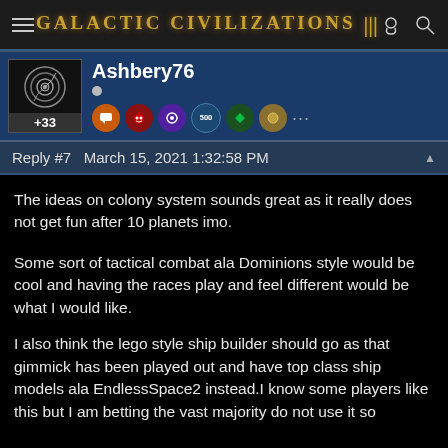Galactic Civilizations III
Ashbery76
+33
Reply #7   March 15, 2021 1:32:58 PM
The ideas on colony system sounds great as it really does not get fun after 10 planets imo.
Some sort of tactical combat ala Dominions style would be cool and having the races play and feel different would be what I would like.
I also think the lego style ship builder should go as that gimmick has been played out and have top class ship models ala EndlessSpace2 instead.I know some players like this but I am betting the vast majority do not use it so